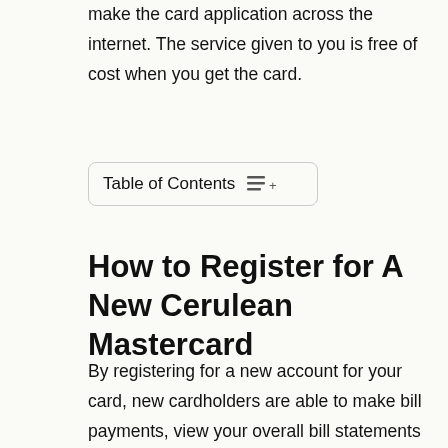make the card application across the internet. The service given to you is free of cost when you get the card.
Table of Contents
How to Register for A New Cerulean Mastercard
By registering for a new account for your card, new cardholders are able to make bill payments, view your overall bill statements and outstanding balances, and monitor all activities carried out in the account, and view the latest transactions and their latest payments, get electronic statements